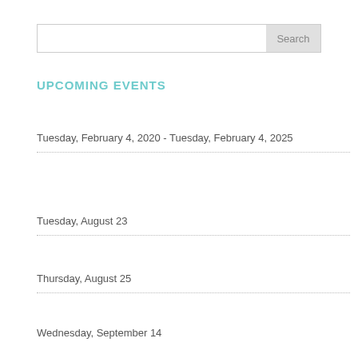Search
UPCOMING EVENTS
Tuesday, February 4, 2020 - Tuesday, February 4, 2025
Tuesday, August 23
Thursday, August 25
Wednesday, September 14